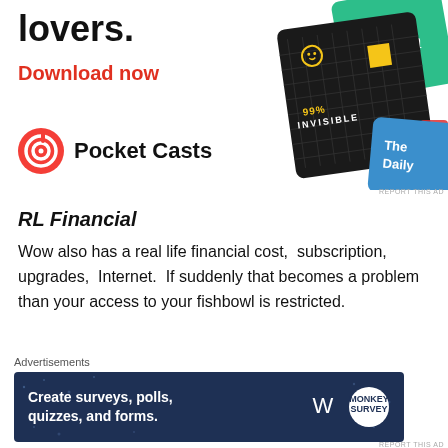[Figure (illustration): Pocket Casts advertisement showing podcast app cards (99% Invisible, One (green), The Daily) and text 'lovers.' with 'Download now' in red, and the Pocket Casts logo]
RL Financial
Wow also has a real life financial cost,  subscription,  upgrades,  Internet.  If suddenly that becomes a problem than your access to your fishbowl is restricted.
Advertisements
[Figure (other): Black advertisement box with dark inner rectangle]
Advertisements
[Figure (other): Dark blue advertisement banner reading 'Create surveys, polls, quizzes, and forms.' with WordPress and Survey logo icons]